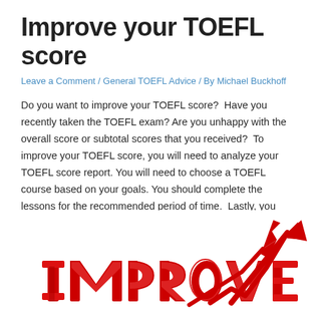Improve your TOEFL score
Leave a Comment / General TOEFL Advice / By Michael Buckhoff
Do you want to improve your TOEFL score?  Have you recently taken the TOEFL exam? Are you unhappy with the overall score or subtotal scores that you received?  To improve your TOEFL score, you will need to analyze your TOEFL score report. You will need to choose a TOEFL course based on your goals. You should complete the lessons for the recommended period of time.  Lastly, you should complete a full-length TOEFL iBT practice test to measure your progress.
[Figure (illustration): 3D red text spelling IMPROVE with a red upward-trending arrow rising from the letters, on a white background]